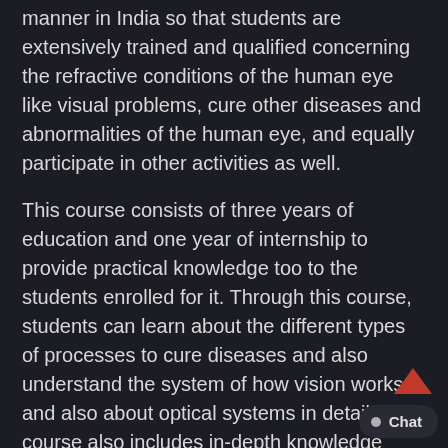manner in India so that students are extensively trained and qualified concerning the refractive conditions of the human eye like visual problems, cure other diseases and abnormalities of the human eye, and equally participate in other activities as well.
This course consists of three years of education and one year of internship to provide practical knowledge too to the students enrolled for it. Through this course, students can learn about the different types of processes to cure diseases and also understand the system of how vision works and also about optical systems in detail. This course also includes in-depth knowledge about how essential the use of contact lenses and spectacles is as well. Along with this it also helps students learn about the production of these